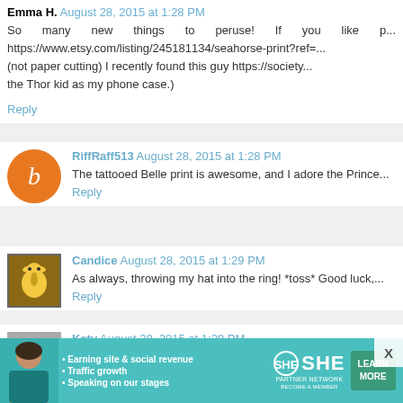Emma H. August 28, 2015 at 1:28 PM
So many new things to peruse! If you like p... https://www.etsy.com/listing/245181134/seahorse-print?ref=... (not paper cutting) I recently found this guy https://society... the Thor kid as my phone case.)
Reply
RiffRaff513 August 28, 2015 at 1:28 PM
The tattooed Belle print is awesome, and I adore the Prince...
Reply
Candice August 28, 2015 at 1:29 PM
As always, throwing my hat into the ring! *toss* Good luck,...
Reply
Katy August 28, 2015 at 1:29 PM
Love the Chewie and C3PO!
Reply
[Figure (infographic): SHE Partner Network advertisement banner with woman photo, bullet points about earning, traffic growth, speaking on stages, and LEARN MORE button]